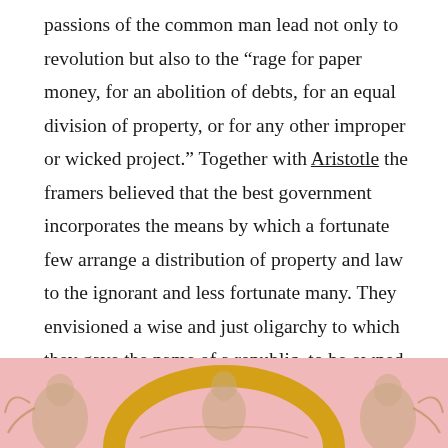passions of the common man lead not only to revolution but also to the “rage for paper money, for an abolition of debts, for an equal division of property, or for any other improper or wicked project.” Together with Aristotle the framers believed that the best government incorporates the means by which a fortunate few arrange a distribution of property and law to the ignorant and less fortunate many. They envisioned a wise and just oligarchy to which they gave the name of a republic, to be owned and operated by men like themselves.
[Figure (illustration): A decorative illustration showing classical figures with a golden arch/halo element on a pink background, partially visible at the bottom of the page.]